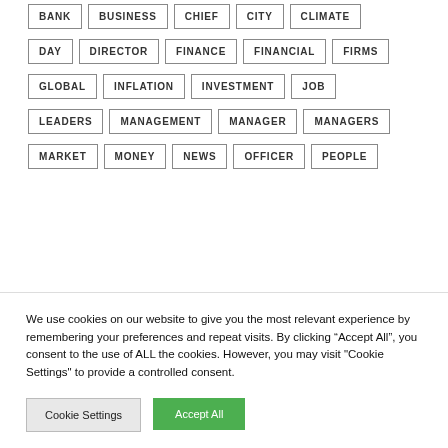BANK
BUSINESS
CHIEF
CITY
CLIMATE
DAY
DIRECTOR
FINANCE
FINANCIAL
FIRMS
GLOBAL
INFLATION
INVESTMENT
JOB
LEADERS
MANAGEMENT
MANAGER
MANAGERS
MARKET
MONEY
NEWS
OFFICER
PEOPLE
We use cookies on our website to give you the most relevant experience by remembering your preferences and repeat visits. By clicking “Accept All”, you consent to the use of ALL the cookies. However, you may visit "Cookie Settings" to provide a controlled consent.
Cookie Settings
Accept All